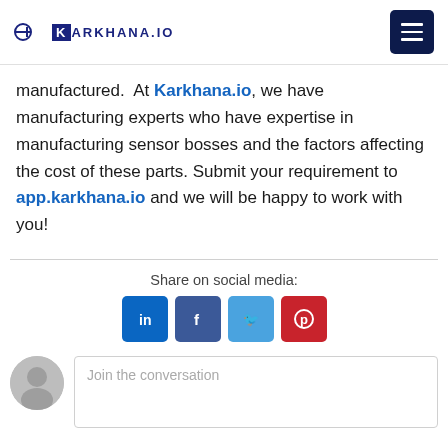KARKHANA.IO
manufactured.  At Karkhana.io, we have manufacturing experts who have expertise in manufacturing sensor bosses and the factors affecting the cost of these parts. Submit your requirement to app.karkhana.io and we will be happy to work with you!
Share on social media:
[Figure (infographic): Social media share buttons: LinkedIn, Facebook, Twitter, Pinterest]
[Figure (other): User avatar placeholder (gray circle) and comment input box with placeholder text 'Join the conversation']